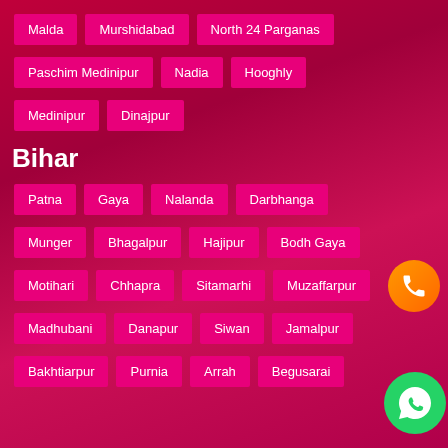Malda
Murshidabad
North 24 Parganas
Paschim Medinipur
Nadia
Hooghly
Medinipur
Dinajpur
Bihar
Patna
Gaya
Nalanda
Darbhanga
Munger
Bhagalpur
Hajipur
Bodh Gaya
Motihari
Chhapra
Sitamarhi
Muzaffarpur
Madhubani
Danapur
Siwan
Jamalpur
Bakhtiarpur
Purnia
Arrah
Begusarai